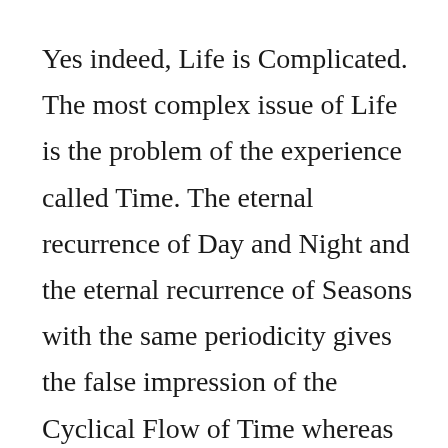Yes indeed, Life is Complicated. The most complex issue of Life is the problem of the experience called Time. The eternal recurrence of Day and Night and the eternal recurrence of Seasons with the same periodicity gives the false impression of the Cyclical Flow of Time whereas every instant on Earth is a new instant which never repeats itself.